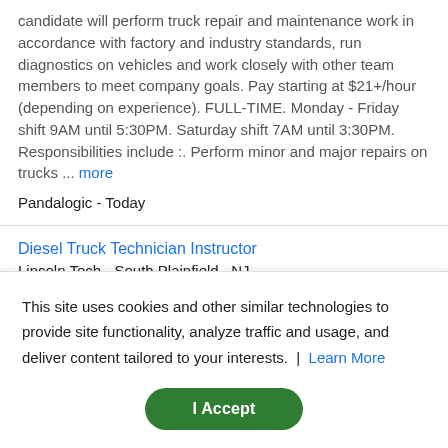candidate will perform truck repair and maintenance work in accordance with factory and industry standards, run diagnostics on vehicles and work closely with other team members to meet company goals. Pay starting at $21+/hour (depending on experience). FULL-TIME. Monday - Friday shift 9AM until 5:30PM. Saturday shift 7AM until 3:30PM. Responsibilities include :. Perform minor and major repairs on trucks ... more
Pandalogic - Today
Diesel Truck Technician Instructor
Lincoln Tech - South Plainfield , NJ
This site uses cookies and other similar technologies to provide site functionality, analyze traffic and usage, and deliver content tailored to your interests. | Learn More
I Accept